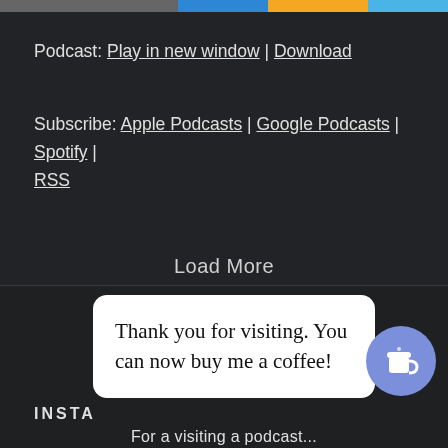Podcast: Play in new window | Download
Subscribe: Apple Podcasts | Google Podcasts | Spotify | RSS
Load More
INSTA
Thank you for visiting. You can now buy me a coffee!
For a visiting a podcast...